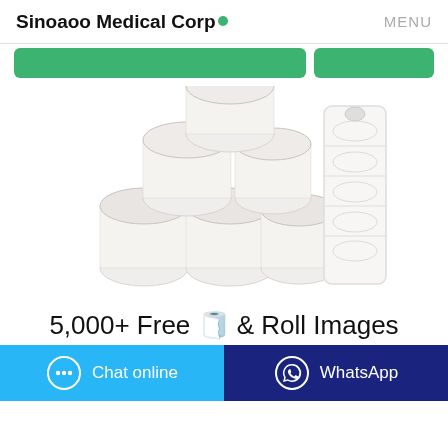Sinoaoo Medical Corp● MENU
[Figure (other): Two green buttons partially visible at top of page]
[Figure (photo): Stack of white toilet/tissue paper rolls arranged in a pyramid, with a packaged set of rolls standing upright beside them, on white background]
5,000+ Free 🧻 & Roll Images
[Figure (other): Two footer buttons: blue Chat online button and dark blue WhatsApp button]